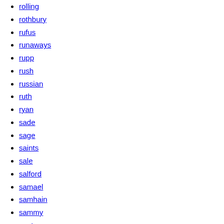rolling
rothbury
rufus
runaways
rupp
rush
russian
ruth
ryan
sade
sage
saints
sale
salford
samael
samhain
sammy
santa
santana
satriani
scorpions
scott
screamers
screen
searching
seasons
seattle
seconds